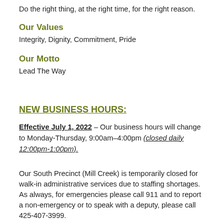Do the right thing, at the right time, for the right reason.
Our Values
Integrity, Dignity, Commitment, Pride
Our Motto
Lead The Way
NEW BUSINESS HOURS:
Effective July 1, 2022 – Our business hours will change to Monday-Thursday, 9:00am–4:00pm (closed daily 12:00pm-1:00pm).
Our South Precinct (Mill Creek) is temporarily closed for walk-in administrative services due to staffing shortages. As always, for emergencies please call 911 and to report a non-emergency or to speak with a deputy, please call 425-407-3999.
Effective June 1, 2022 – Non-mandated fingerprinting